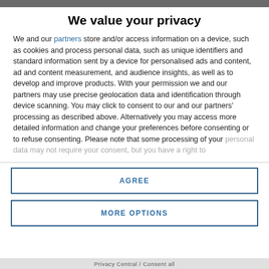We value your privacy
We and our partners store and/or access information on a device, such as cookies and process personal data, such as unique identifiers and standard information sent by a device for personalised ads and content, ad and content measurement, and audience insights, as well as to develop and improve products. With your permission we and our partners may use precise geolocation data and identification through device scanning. You may click to consent to our and our partners' processing as described above. Alternatively you may access more detailed information and change your preferences before consenting or to refuse consenting. Please note that some processing of your personal data may not require your consent, but you have a right to
AGREE
MORE OPTIONS
Privacy Central / Consent all